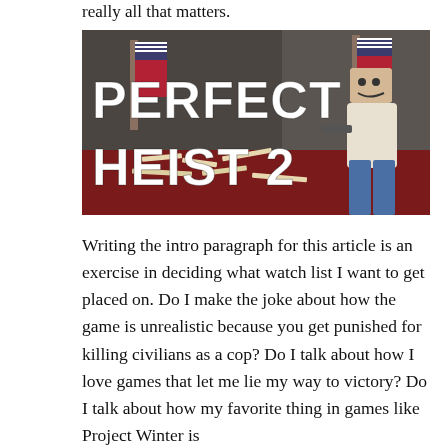really all that matters.
[Figure (photo): Promotional image for 'Perfect Heist 2' video game. Bold white text reads 'PERFECT HEIST 2' over a scene inside what appears to be a government building with American flags and red carpet. A person wearing a cardboard box as a mask and carrying a weapon stands on the right.]
Writing the intro paragraph for this article is an exercise in deciding what watch list I want to get placed on. Do I make the joke about how the game is unrealistic because you get punished for killing civilians as a cop? Do I talk about how I love games that let me lie my way to victory? Do I talk about how my favorite thing in games like Project Winter is